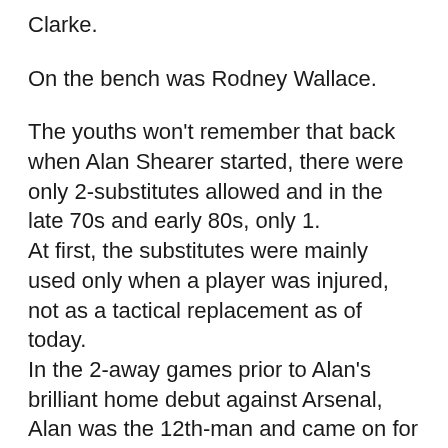Clarke.
On the bench was Rodney Wallace.
The youths won't remember that back when Alan Shearer started, there were only 2-substitutes allowed and in the late 70s and early 80s, only 1.
At first, the substitutes were mainly used only when a player was injured, not as a tactical replacement as of today.
In the 2-away games prior to Alan's brilliant home debut against Arsenal, Alan was the 12th-man and came on for Wallace in the 2nd-half, however on those occasions it wasn't Rodney it was his brother Danny.
Both Rodney and Danny…